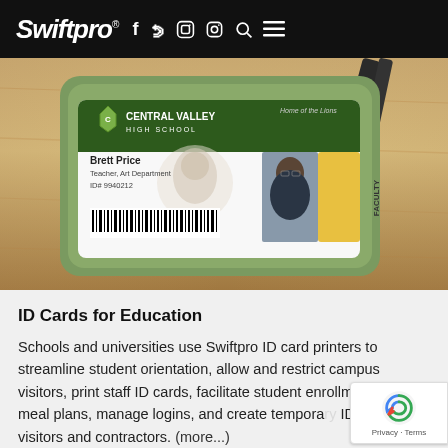Swiftpro — social media and navigation icons
[Figure (photo): A Central Valley High School faculty ID card for Brett Price, Teacher, Art Department, ID# 9940212, displayed in a green card holder on a wooden desk with pens nearby.]
ID Cards for Education
Schools and universities use Swiftpro ID card printers to streamline student orientation, allow and restrict campus visitors, print staff ID cards, facilitate student enrollment, track meal plans, manage logins, and create temporary IDs for visitors and contractors. (more...)